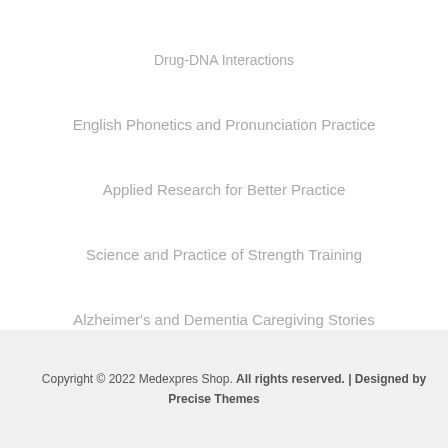Drug-DNA Interactions
English Phonetics and Pronunciation Practice
Applied Research for Better Practice
Science and Practice of Strength Training
Alzheimer's and Dementia Caregiving Stories
Copyright © 2022 Medexpres Shop. All rights reserved. | Designed by Precise Themes